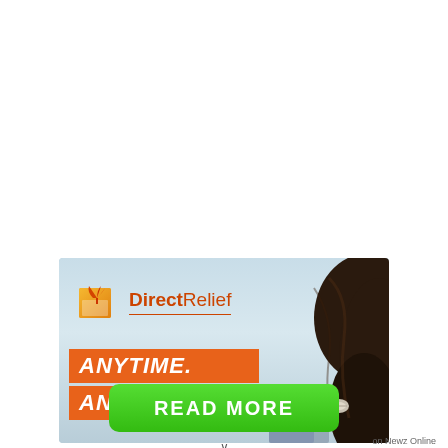[Figure (illustration): Direct Relief advertisement banner showing logo with orange bird/leaf icon and 'DirectRelief' text in orange-red, with 'ANYTIME. ANYWHERE.' text on orange background, and a woman's dark hair visible on the right side. Sky/coastal background.]
READ MORE
on Newz Online